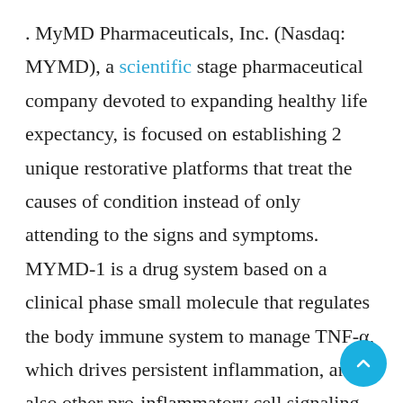. MyMD Pharmaceuticals, Inc. (Nasdaq: MYMD), a scientific stage pharmaceutical company devoted to expanding healthy life expectancy, is focused on establishing 2 unique restorative platforms that treat the causes of condition instead of only attending to the signs and symptoms. MYMD-1 is a drug system based on a clinical phase small molecule that regulates the body immune system to manage TNF-α, which drives persistent inflammation, and also other pro-inflammatory cell signaling cytokines. MYMD-1 is being developed to postpone aging, boost long life, and deal with autoimmune diseases as well as COVID-19- connected anxiety. The Firm's 2nd drug